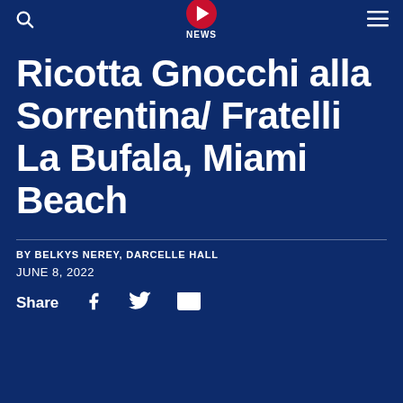NEWS
Ricotta Gnocchi alla Sorrentina/ Fratelli La Bufala, Miami Beach
BY BELKYS NEREY, DARCELLE HALL
JUNE 8, 2022
Share